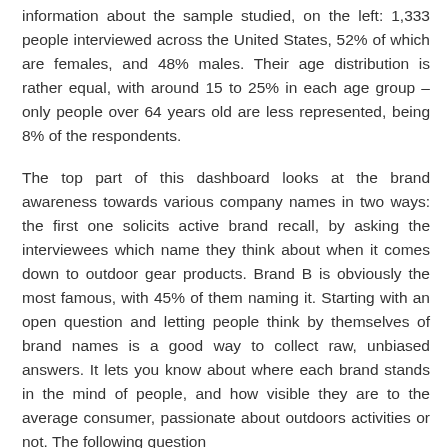information about the sample studied, on the left: 1,333 people interviewed across the United States, 52% of which are females, and 48% males. Their age distribution is rather equal, with around 15 to 25% in each age group – only people over 64 years old are less represented, being 8% of the respondents.
The top part of this dashboard looks at the brand awareness towards various company names in two ways: the first one solicits active brand recall, by asking the interviewees which name they think about when it comes down to outdoor gear products. Brand B is obviously the most famous, with 45% of them naming it. Starting with an open question and letting people think by themselves of brand names is a good way to collect raw, unbiased answers. It lets you know about where each brand stands in the mind of people, and how visible they are to the average consumer, passionate about outdoors activities or not. The following question